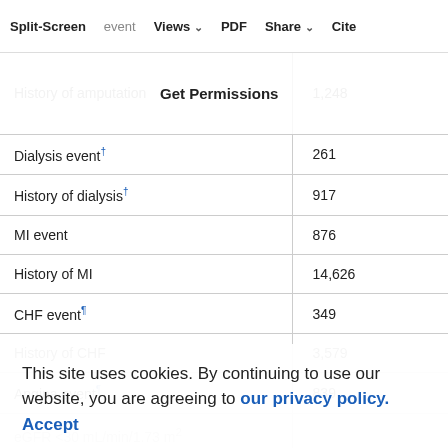Split-Screen  Views  PDF  Share  Cite
| Variable | N |
| --- | --- |
| History of amputation | 1,248 |
| Dialysis event† | 261 |
| History of dialysis† | 917 |
| MI event | 876 |
| History of MI | 14,626 |
| CHF event¶ | 349 |
| History of CHF | 3,579 |
| Angina event¶ | 839 |
| eGFR <30 mL/min/1.73 m² |  |
| History of eGFR <30 mL/min/1.73 m² | 1,262 |
This site uses cookies. By continuing to use our website, you are agreeing to our privacy policy. Accept